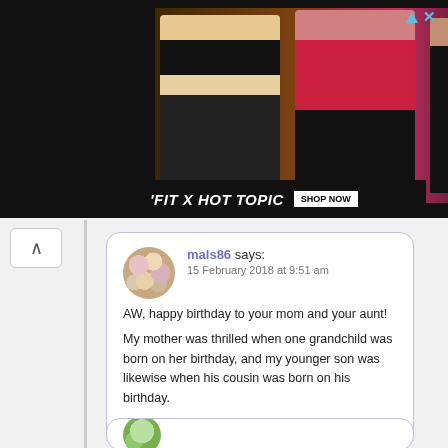[Figure (photo): Advertisement banner for 'FIT X HOT TOPIC' showing three people posing, with a 'SHOP NOW' button and a close/skip ad icon in the top right corner.]
mals86 says:
15 February 2018 at 9:51 am

AW, happy birthday to your mom and your aunt!

My mother was thrilled when one grandchild was born on her birthday, and my younger son was likewise when his cousin was born on his birthday.

Log in to Reply